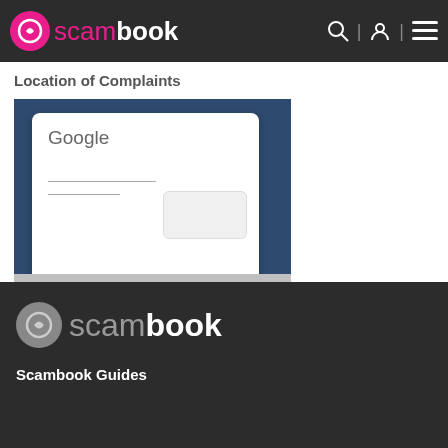scambook
Location of Complaints
[Figure (screenshot): Screenshot of a Google search page showing the Google logo, two input lines, and a button, with a Google logo bar at the bottom with keyboard icon.]
scambook — Scambook Guides